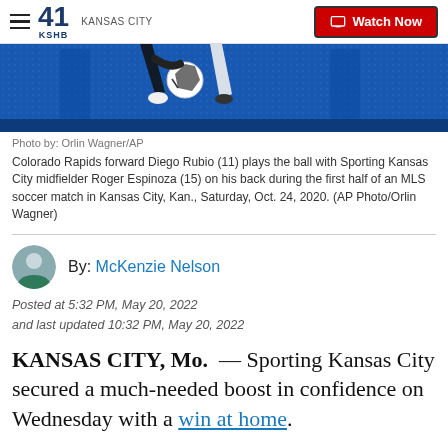KSHB 41 KANSAS CITY | Watch Now
[Figure (photo): Soccer action photo showing Colorado Rapids forward Diego Rubio (11) playing the ball with Sporting Kansas City midfielder Roger Espinoza (15) on his back, in front of a blue LED scoreboard backdrop.]
Photo by: Orlin Wagner/AP
Colorado Rapids forward Diego Rubio (11) plays the ball with Sporting Kansas City midfielder Roger Espinoza (15) on his back during the first half of an MLS soccer match in Kansas City, Kan., Saturday, Oct. 24, 2020. (AP Photo/Orlin Wagner)
By: McKenzie Nelson
Posted at 5:32 PM, May 20, 2022
and last updated 10:32 PM, May 20, 2022
KANSAS CITY, Mo. — Sporting Kansas City secured a much-needed boost in confidence on Wednesday with a win at home.